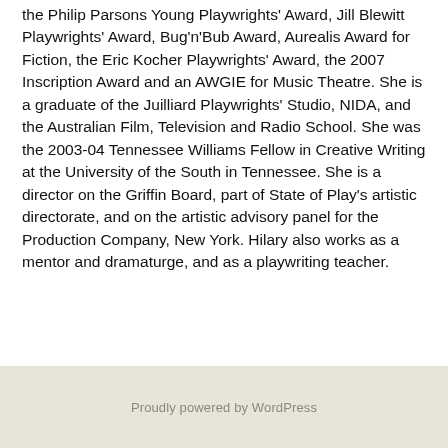the Philip Parsons Young Playwrights' Award, Jill Blewitt Playwrights' Award, Bug'n'Bub Award, Aurealis Award for Fiction, the Eric Kocher Playwrights' Award, the 2007 Inscription Award and an AWGIE for Music Theatre. She is a graduate of the Juilliard Playwrights' Studio, NIDA, and the Australian Film, Television and Radio School. She was the 2003-04 Tennessee Williams Fellow in Creative Writing at the University of the South in Tennessee. She is a director on the Griffin Board, part of State of Play's artistic directorate, and on the artistic advisory panel for the Production Company, New York. Hilary also works as a mentor and dramaturge, and as a playwriting teacher.
Proudly powered by WordPress